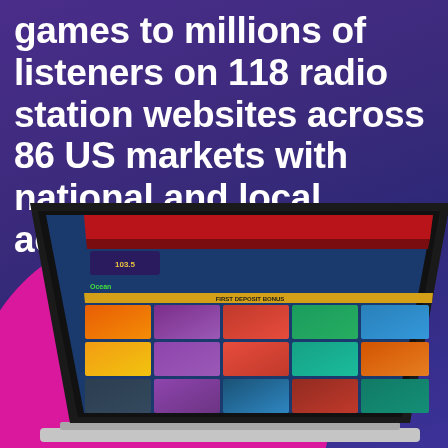games to millions of listeners on 118 radio station websites across 86 US markets with national and local activation.
[Figure (screenshot): A laptop computer displaying a casino games website (Ocean Casino) embedded on a radio station (103.5) website, showing a grid of colorful slot game thumbnails with a red navigation bar at the top. The laptop is shown in perspective view against a magenta circle background element.]